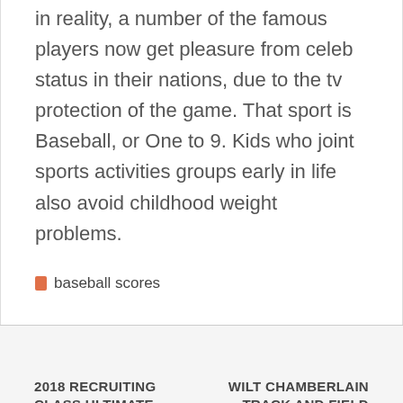in reality, a number of the famous players now get pleasure from celeb status in their nations, due to the tv protection of the game. That sport is Baseball, or One to 9. Kids who joint sports activities groups early in life also avoid childhood weight problems.
baseball scores
2018 RECRUITING CLASS ULTIMATE MIXTAPE!!
WILT CHAMBERLAIN – TRACK AND FIELD AT THE